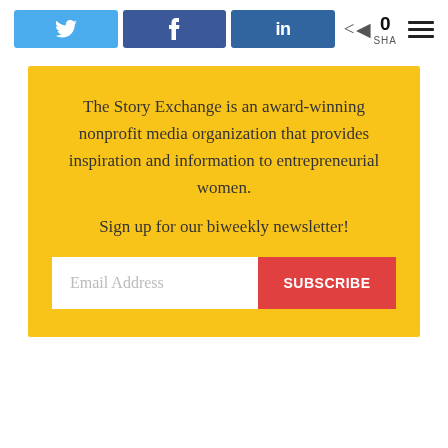[Figure (screenshot): Social media share buttons: Twitter (bird icon), Facebook (f icon), LinkedIn (in icon), share count showing 0 SHA, and hamburger menu icon]
The Story Exchange is an award-winning nonprofit media organization that provides inspiration and information to entrepreneurial women.
Sign up for our biweekly newsletter!
[Figure (other): Email address input field with placeholder text 'Email Address' and a red SUBSCRIBE button]